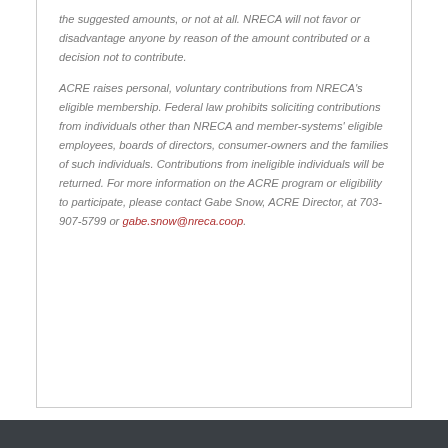the suggested amounts, or not at all. NRECA will not favor or disadvantage anyone by reason of the amount contributed or a decision not to contribute.

ACRE raises personal, voluntary contributions from NRECA's eligible membership. Federal law prohibits soliciting contributions from individuals other than NRECA and member-systems' eligible employees, boards of directors, consumer-owners and the families of such individuals. Contributions from ineligible individuals will be returned. For more information on the ACRE program or eligibility to participate, please contact Gabe Snow, ACRE Director, at 703-907-5799 or gabe.snow@nreca.coop.